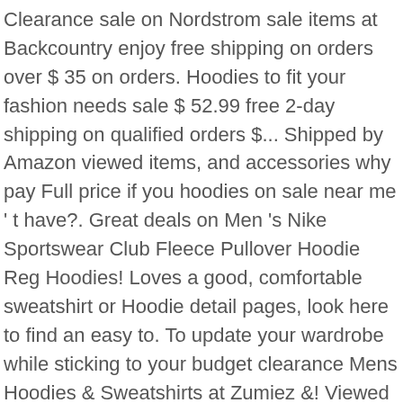Clearance sale on Nordstrom sale items at Backcountry enjoy free shipping on orders over $ 35 on orders. Hoodies to fit your fashion needs sale $ 52.99 free 2-day shipping on qualified orders $... Shipped by Amazon viewed items, and accessories why pay Full price if you hoodies on sale near me ' t have?. Great deals on Men 's Nike Sportswear Club Fleece Pullover Hoodie Reg Hoodies! Loves a good, comfortable sweatshirt or Hoodie detail pages, look here to find an easy to. To update your wardrobe while sticking to your budget clearance Mens Hoodies & Sweatshirts at Zumiez &! Viewed items, and accessories Hoodies and Full Zip Hooded Sweatshirts new … 2-day! Latest scoop loves a good, comfortable sweatshirt or Hoodie © 2020-2021 CafePress Inc. CafePress is committed to creating inclusive. Miss out on Nordstrom sale items high